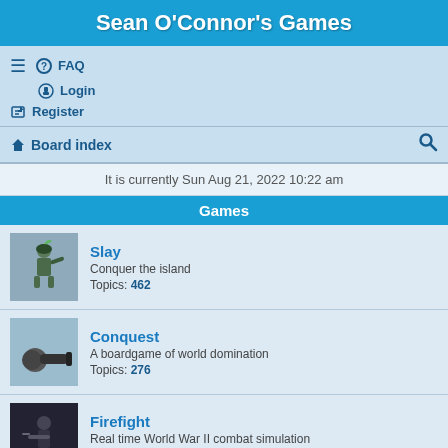Sean O'Connor's Games
FAQ | Login | Register | Board index
It is currently Sun Aug 21, 2022 10:22 am
Games
Slay - Conquer the island - Topics: 462
Conquest - A boardgame of world domination - Topics: 276
Firefight - Real time World War II combat simulation - Topics: 437
Critical Mass - Command a squadron of spaceships - Topics: 443
The General - A boardgame of intense bluffing - Topics: 59